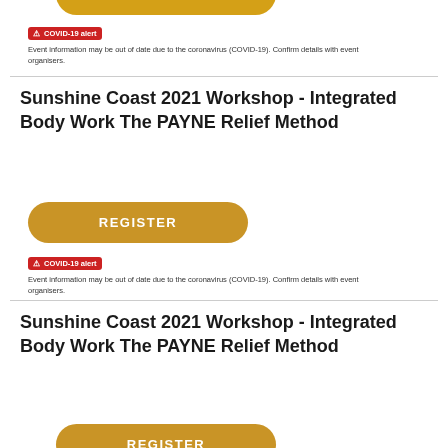[Figure (other): Orange REGISTER button (partially visible at top)]
⚠ COVID-19 alert
Event information may be out of date due to the coronavirus (COVID-19). Confirm details with event organisers.
Sunshine Coast 2021 Workshop - Integrated Body Work The PAYNE Relief Method
[Figure (other): Orange REGISTER button]
⚠ COVID-19 alert
Event information may be out of date due to the coronavirus (COVID-19). Confirm details with event organisers.
Sunshine Coast 2021 Workshop - Integrated Body Work The PAYNE Relief Method
[Figure (other): Orange REGISTER button (partially visible at bottom)]